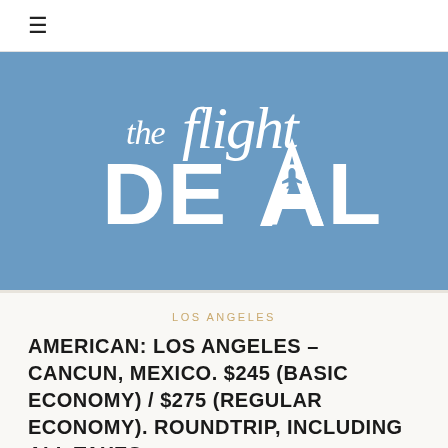≡
[Figure (logo): The Flight Deal logo — white text on blue background, with 'the flight' in lowercase and 'DEAL' in large uppercase letters with an airplane silhouette integrated into the letter A]
LOS ANGELES
AMERICAN: LOS ANGELES – CANCUN, MEXICO. $245 (BASIC ECONOMY) / $275 (REGULAR ECONOMY). ROUNDTRIP, INCLUDING ALL TAXES